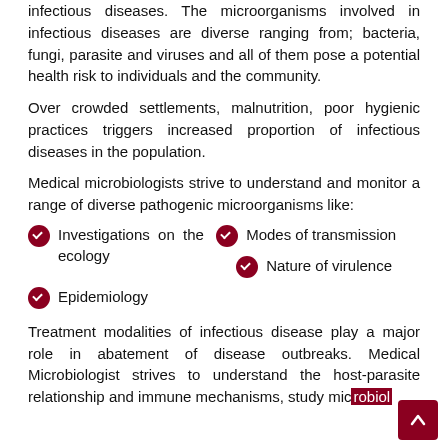infectious diseases. The microorganisms involved in infectious diseases are diverse ranging from; bacteria, fungi, parasite and viruses and all of them pose a potential health risk to individuals and the community.
Over crowded settlements, malnutrition, poor hygienic practices triggers increased proportion of infectious diseases in the population.
Medical microbiologists strive to understand and monitor a range of diverse pathogenic microorganisms like:
Investigations on the ecology
Modes of transmission
Nature of virulence
Epidemiology
Treatment modalities of infectious disease play a major role in abatement of disease outbreaks. Medical Microbiologist strives to understand the host-parasite relationship and immune mechanisms, study microbiol